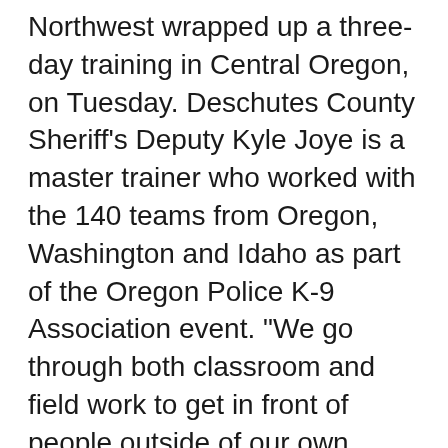Northwest wrapped up a three-day training in Central Oregon, on Tuesday. Deschutes County Sheriff's Deputy Kyle Joye is a master trainer who worked with the 140 teams from Oregon, Washington and Idaho as part of the Oregon Police K-9 Association event. "We go through both classroom and field work to get in front of people outside of our own departments and to get with state-recognized trainers," Joye told KBND News. "It's basically to better our teams to perform better on the streets. Plus, we learn from each other."
K-9s and their human partners participated in various field exercises in Bend and Redmond as part of their annual certification. "We're broken in two groups: Patrol division works on tracking, as far as wanted people and they have updates on use of force. Then detection comes out and we are searching everything from cars to rooms and we have a refrigerated semi